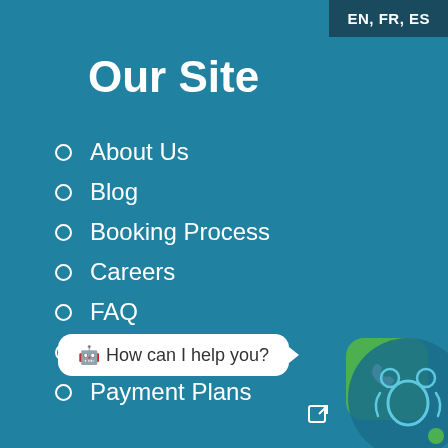EN, FR, ES
Our Site
About Us
Blog
Booking Process
Careers
FAQ
Multilingual Help
Payment Plans
Pricing
Privacy Policy
Services
[Figure (illustration): Green rounded square button with white phone/call icon]
🤖 How can I help you?
[Figure (illustration): Chatbot widget with teal figures and green dot indicator]
[Figure (illustration): Expand/external link icon]